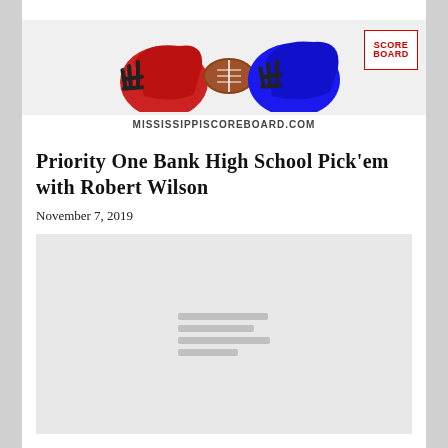[Figure (photo): Mississippi Scoreboard website header showing football helmets and a football, with the site URL MISSISSIPPISCOREBOARD.COM and the Score Board logo in the top right corner]
Priority One Bank High School Pick'em with Robert Wilson
November 7, 2019
[Figure (screenshot): Embedded content area with loading placeholder lines on a gray background]
JACKSON ACADEMY HIRES ALABAMA NATIVE AUBREY BLACKWELL AS HEAD FOOTBALL COACH,